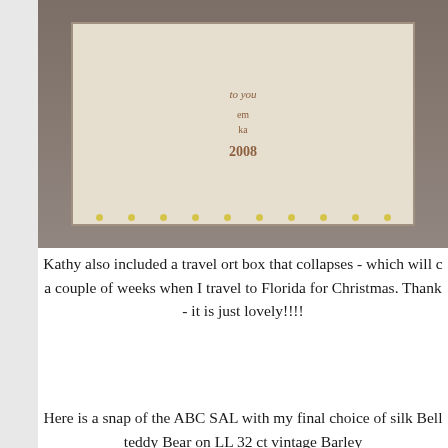[Figure (photo): Cross-stitch embroidery sampler on linen fabric with a sheep/lamb design, text reading 'to you', 'em', 'ka', '2008', pinned to a grey fluffy surface with yellow pins. A floral fabric piece visible at top right corner.]
Kathy also included a travel ort box that collapses - which will c a couple of weeks when I travel to Florida for Christmas. Thank - it is just lovely!!!!
Here is a snap of the ABC SAL with my final choice of silk Bell teddy Bear on LL 32 ct vintage Barley
[Figure (photo): Cross-stitch ABC SAL embroidery on beige/barley linen with decorative border featuring diamond and floral motifs in gold and dark brown. Two large ornate letters visible in centre.]